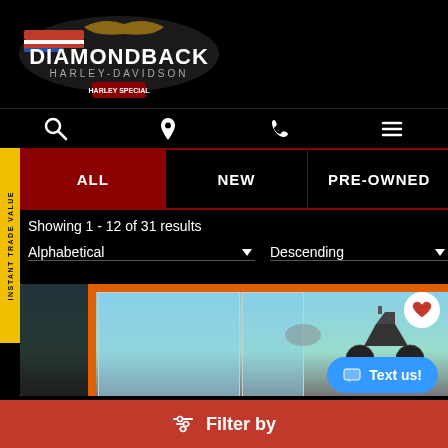[Figure (logo): Diamondback Harley-Davidson dealership logo with American flag eagle on black background]
[Figure (screenshot): Navigation icons row: search (magnifying glass), location pin, phone, hamburger menu on black background]
INSTANT TRADE VALUE
ALL
NEW
PRE-OWNED
Showing 1 - 12 of 31 results
Alphabetical
Descending
[Figure (photo): Motorcycle parked in front of a dealership with orange structural beams and blue sky background]
Text us!
Filter by